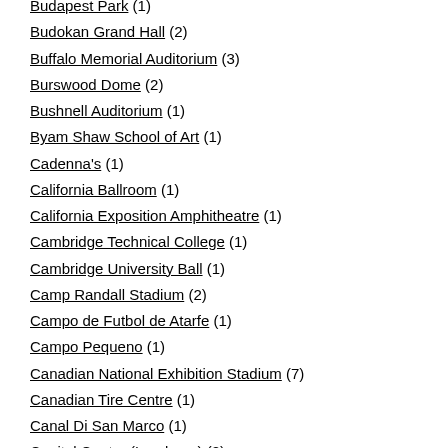Budapest Park (1)
Budokan Grand Hall (2)
Buffalo Memorial Auditorium (3)
Burswood Dome (2)
Bushnell Auditorium (1)
Byam Shaw School of Art (1)
Cadenna's (1)
California Ballroom (1)
California Exposition Amphitheatre (1)
Cambridge Technical College (1)
Cambridge University Ball (1)
Camp Randall Stadium (2)
Campo de Futbol de Atarfe (1)
Campo Pequeno (1)
Canadian National Exhibition Stadium (7)
Canadian Tire Centre (1)
Canal Di San Marco (1)
Capital Centre (Landover) (2)
Capitol Center (Landover) (4)
Capitol Music Theater (Landover) (1)
Capitol Theatre (1)
Carnegie Hall (New York) (3)
Carrier Dome (1)